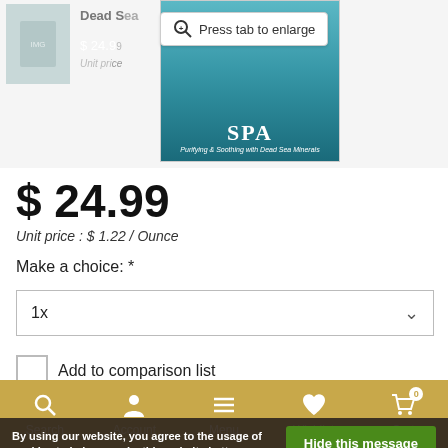[Figure (screenshot): Product thumbnail and SPA product image with 'Press tab to enlarge' tooltip overlay]
$ 24.99
Unit price : $ 1.22 / Ounce
Make a choice: *
1x (dropdown selector)
Add to comparison list
In stock
By using our website, you agree to the usage of cookies to help us make this website better.
Hide this message
More on cookies »
Add to wishlist
Search  Account  Menu  Wishlist  Cart 0